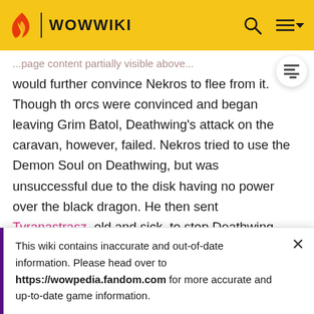WOWWIKI
would further convince Nekros to flee from it. Though the orcs were convinced and began leaving Grim Batol, Deathwing's attack on the caravan, however, failed. Nekros tried to use the Demon Soul on Deathwing, but was unsuccessful due to the disk having no power over the black dragon. He then sent Tyranastrasz, old and sick, to stop Deathwing, but he failed and was killed.
At the behest of Krasus, the three remaining free aspects, Malygos, Ysera and Nozdormu, grudgingly decided to come out of their lairs and attack Deathwing. However
This wiki contains inaccurate and out-of-date information. Please head over to https://wowpedia.fandom.com for more accurate and up-to-date game information.